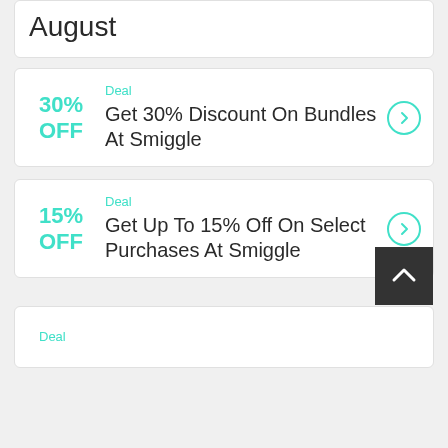August
Deal
30% OFF
Get 30% Discount On Bundles At Smiggle
Deal
15% OFF
Get Up To 15% Off On Select Purchases At Smiggle
Deal